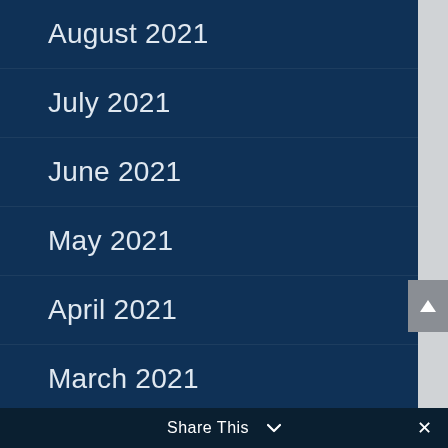August 2021
July 2021
June 2021
May 2021
April 2021
March 2021
February 2021
Share This ∨  ✕